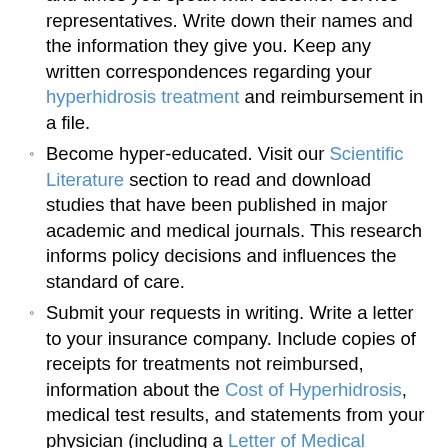…and times you speak with customer service representatives. Write down their names and the information they give you. Keep any written correspondences regarding your hyperhidrosis treatment and reimbursement in a file.
Become hyper-educated. Visit our Scientific Literature section to read and download studies that have been published in major academic and medical journals. This research informs policy decisions and influences the standard of care.
Submit your requests in writing. Write a letter to your insurance company. Include copies of receipts for treatments not reimbursed, information about the Cost of Hyperhidrosis, medical test results, and statements from your physician (including a Letter of Medical Necessity, Hyperhidrosis Prescriptions…